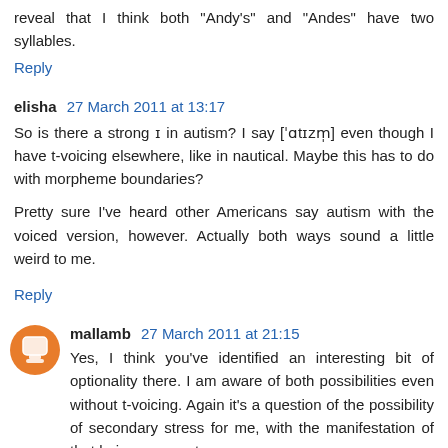reveal that I think both "Andy's" and "Andes" have two syllables.
Reply
elisha  27 March 2011 at 13:17
So is there a strong ɪ in autism? I say [ˈɑtɪzm̩] even though I have t-voicing elsewhere, like in nautical. Maybe this has to do with morpheme boundaries?
Pretty sure I've heard other Americans say autism with the voiced version, however. Actually both ways sound a little weird to me.
Reply
mallamb  27 March 2011 at 21:15
Yes, I think you've identified an interesting bit of optionality there. I am aware of both possibilities even without t-voicing. Again it's a question of the possibility of secondary stress for me, with the manifestation of that being apparent